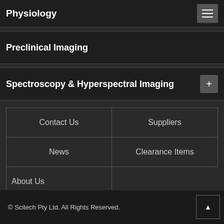Physiology
Preclinical Imaging
Spectroscopy & Hyperspectral Imaging
Contact Us
Suppliers
News
Clearance Items
About Us
© Scitech Pty Ltd. All Rights Reserved.